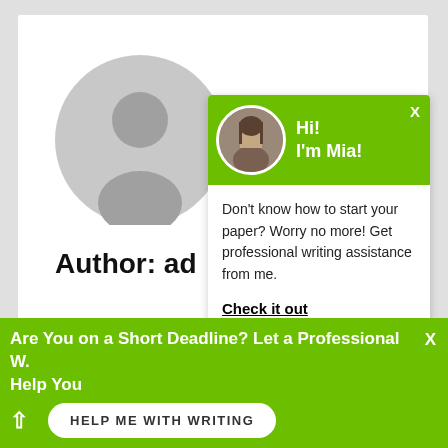[Figure (illustration): Gray circular avatar/profile placeholder icon with head and shoulders silhouette]
Author: ad
PREVIOUS POST
Shiga furthermore, the highest
[Figure (screenshot): Green chat popup with photo of Mia, greeting 'Hi! I'm Mia!', message about writing assistance, and 'Check it out' link]
Hi!
I'm Mia!
Don't know how to start your paper? Worry no more! Get professional writing assistance from me.
Check it out
[Figure (illustration): Green circular chat bubble button icon]
Are You on a Short Deadline? Let a Professional W. Help You
HELP ME WITH WRITING